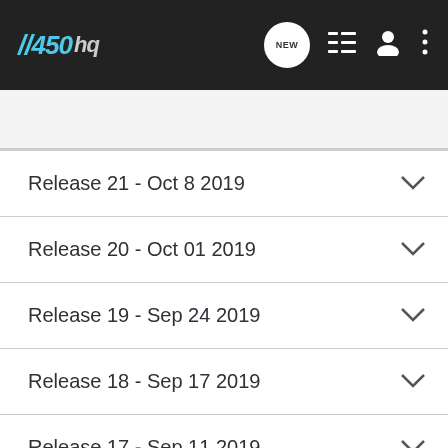//450hq — NEW [icon] [icon] [icon]
Search Community
Release 21 - Oct 8 2019
Release 20 - Oct 01 2019
Release 19 - Sep 24 2019
Release 18 - Sep 17 2019
Release 17 - Sep 11 2019
Release 16 - Sep 06 2019